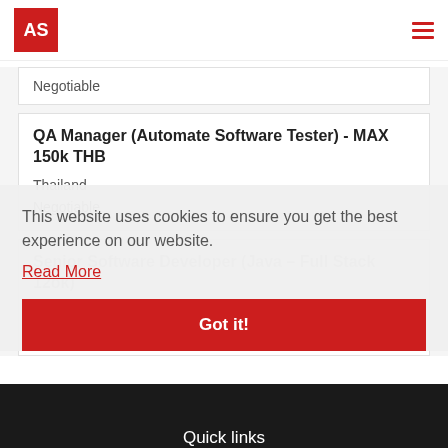AS (logo) | hamburger menu
Negotiable
QA Manager (Automate Software Tester) - MAX 150k THB
Thailand
Negotiable
Senior Software Developer (Java – Full Stack 12ok)
Thailand
Negotiable
This website uses cookies to ensure you get the best experience on our website.
Read More
Got it!
Quick links